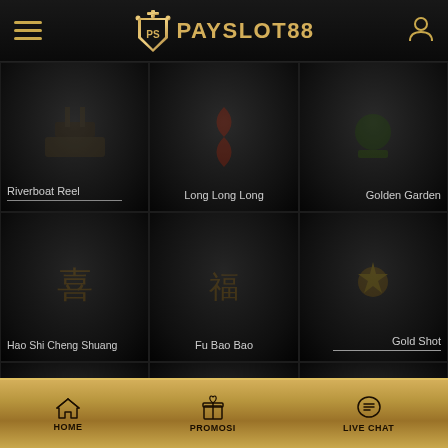[Figure (screenshot): PAYSLOT88 mobile gambling website screenshot showing game lobby with dark theme and gold accents]
PAYSLOT88
Riverboat Reel
Long Long Long
Golden Garden
Hao Shi Cheng Shuang
Fu Bao Bao
Gold Shot
Tale of Two Dragons
Pet Shot
Egypt Cash
HOME | PROMOSI | LIVE CHAT